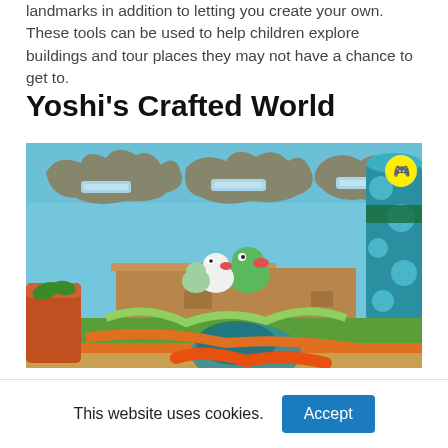landmarks in addition to letting you create your own. These tools can be used to help children explore buildings and tour places they may not have a chance to get to.
Yoshi's Crafted World
[Figure (photo): Screenshot from Yoshi's Crafted World video game showing colorful craft-style environments with Yoshi characters, cardboard clouds, and paper decorations in a bright blue-sky setting.]
This website uses cookies.
Accept